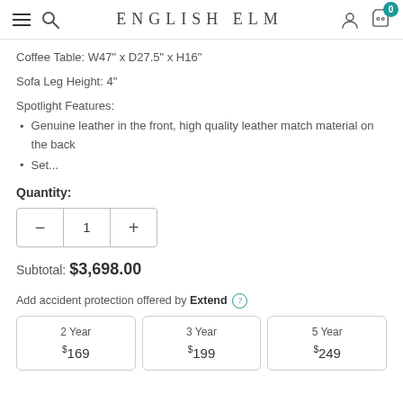ENGLISH ELM
Coffee Table: W47" x D27.5" x H16"
Sofa Leg Height: 4"
Spotlight Features:
Genuine leather in the front, high quality leather match material on the back
Set...
Quantity:
Subtotal: $3,698.00
Add accident protection offered by Extend
| 2 Year | 3 Year | 5 Year |
| --- | --- | --- |
| $169 | $199 | $249 |